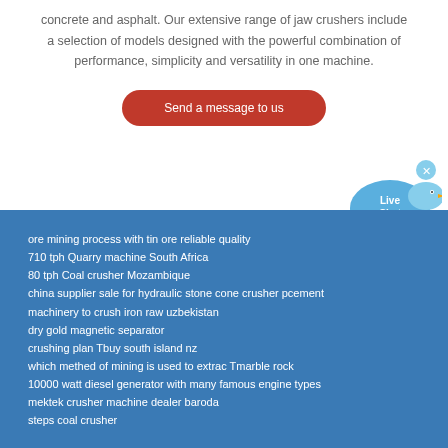concrete and asphalt. Our extensive range of jaw crushers include a selection of models designed with the powerful combination of performance, simplicity and versatility in one machine.
[Figure (other): Red rounded rectangle button with white text 'Send a message to us']
[Figure (other): Live Chat widget bubble with speech bubble icon in light blue, with 'Live Chat' text in white and a close X button.]
ore mining process with tin ore reliable quality
710 tph Quarry machine South Africa
80 tph Coal crusher Mozambique
china supplier sale for hydraulic stone cone crusher pcement
machinery to crush iron raw uzbekistan
dry gold magnetic separator
crushing plan Tbuy south island nz
which methed of mining is used to extrac Tmarble rock
10000 watt diesel generator with many famous engine types
mektek crusher machine dealer baroda
steps coal crusher